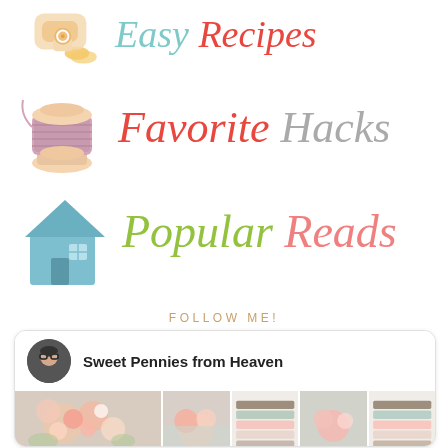[Figure (illustration): Decorative lifestyle blog sidebar graphic with icons and text. Shows three rows: a thread/sewing icon with 'Easy Recipes' text (teal and red italic), a thread spool icon with 'Favorite Hacks' text (red and gray italic), and a house icon with 'Popular Reads' text (green and pink italic). Below is a 'FOLLOW ME!' label and a Pinterest profile card for 'Sweet Pennies from Heaven' showing profile photo and image thumbnails.]
Easy Recipes
Favorite Hacks
Popular Reads
FOLLOW ME!
Sweet Pennies from Heaven